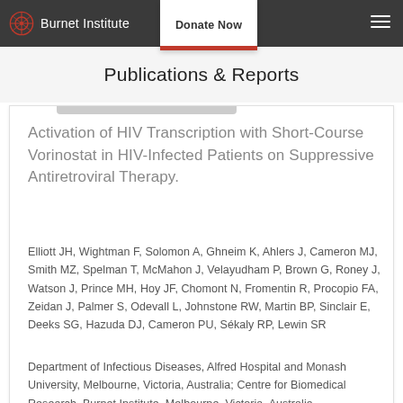Burnet Institute | Donate Now
Publications & Reports
Activation of HIV Transcription with Short-Course Vorinostat in HIV-Infected Patients on Suppressive Antiretroviral Therapy.
Elliott JH, Wightman F, Solomon A, Ghneim K, Ahlers J, Cameron MJ, Smith MZ, Spelman T, McMahon J, Velayudham P, Brown G, Roney J, Watson J, Prince MH, Hoy JF, Chomont N, Fromentin R, Procopio FA, Zeidan J, Palmer S, Odevall L, Johnstone RW, Martin BP, Sinclair E, Deeks SG, Hazuda DJ, Cameron PU, Sékaly RP, Lewin SR
Department of Infectious Diseases, Alfred Hospital and Monash University, Melbourne, Victoria, Australia; Centre for Biomedical Research, Burnet Institute, Melbourne, Victoria, Australia.